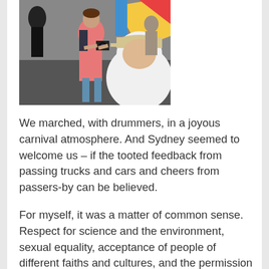[Figure (photo): Outdoor scene showing people at what appears to be a march or rally. A woman in a pink dress with a backpack is holding a camera. A person in a white shirt and beige cap is visible in the foreground. Colorful flags or banners are visible in the background.]
We marched, with drummers, in a joyous carnival atmosphere. And Sydney seemed to welcome us – if the tooted feedback from passing trucks and cars and cheers from passers-by can be believed.
For myself, it was a matter of common sense. Respect for science and the environment, sexual equality, acceptance of people of different faiths and cultures, and the permission to dissent.